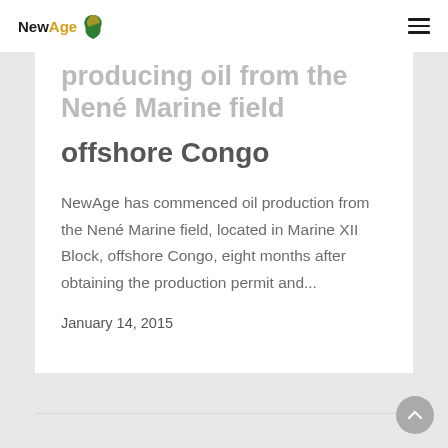NewAge
producing oil from the Nené Marine field offshore Congo
NewAge has commenced oil production from the Nené Marine field, located in Marine XII Block, offshore Congo, eight months after obtaining the production permit and...
January 14, 2015